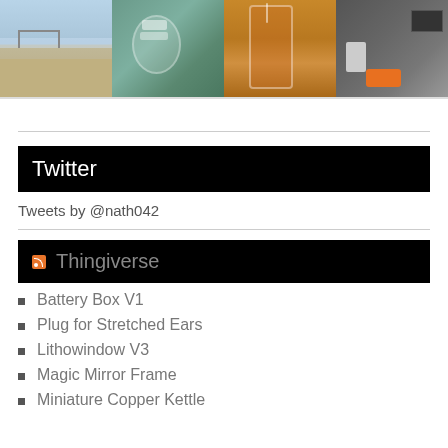[Figure (photo): A horizontal strip of four photos: a beach with a pier, a Frappe drink cup on a glass table, a red/orange drink in a tall glass, and shoes/items on a white surface against a dark background.]
Tweets by @nath042
Twitter
Thingiverse
Battery Box V1
Plug for Stretched Ears
Lithowindow V3
Magic Mirror Frame
Miniature Copper Kettle